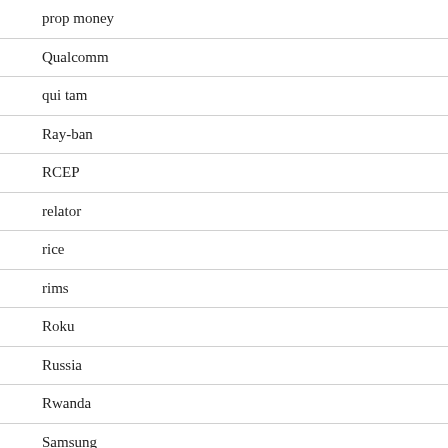prop money
Qualcomm
qui tam
Ray-ban
RCEP
relator
rice
rims
Roku
Russia
Rwanda
Samsung
sanctions
SAT
scope ruling